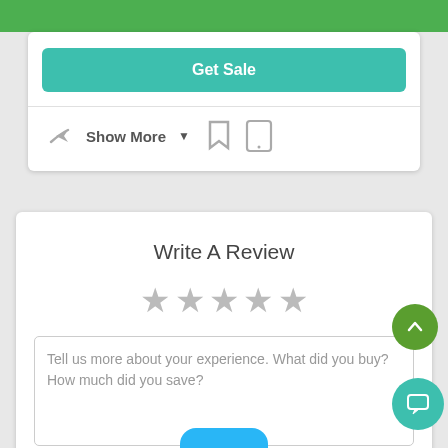Groupon (partial header bar)
Get Sale
Show More ▼
Write A Review
Tell us more about your experience. What did you buy? How much did you save?